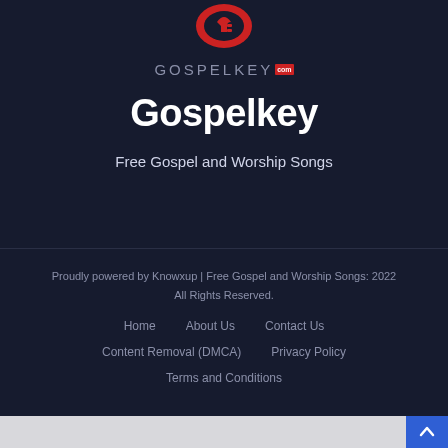[Figure (logo): GospelKey logo — red circular icon above the GOSPELKEY.com wordmark in gray uppercase letters with a red COM badge]
Gospelkey
Free Gospel and Worship Songs
Proudly powered by Knowxup | Free Gospel and Worship Songs: 2022 All Rights Reserved.
Home
About Us
Contact Us
Content Removal (DMCA)
Privacy Policy
Terms and Conditions